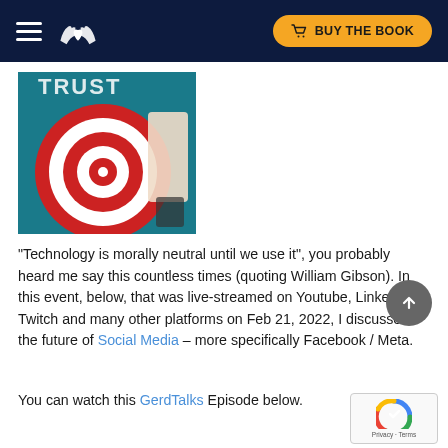BUY THE BOOK
[Figure (photo): Photo of a person holding a dartboard/target with a bullseye, with the word TRUST visible in the background. Red and white concentric circles on the target.]
“Technology is morally neutral until we use it”, you probably heard me say this countless times (quoting William Gibson). In this event, below, that was live-streamed on Youtube, LinkedIn, Twitch and many other platforms on Feb 21, 2022, I discussed the future of Social Media – more specifically Facebook / Meta.
You can watch this GerdTalks Episode below.